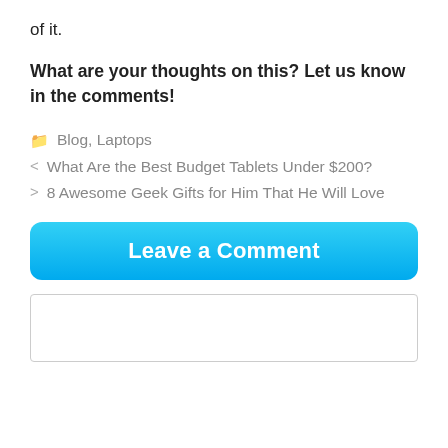of it.
What are your thoughts on this?  Let us know in the comments!
Blog, Laptops
< What Are the Best Budget Tablets Under $200?
> 8 Awesome Geek Gifts for Him That He Will Love
Leave a Comment